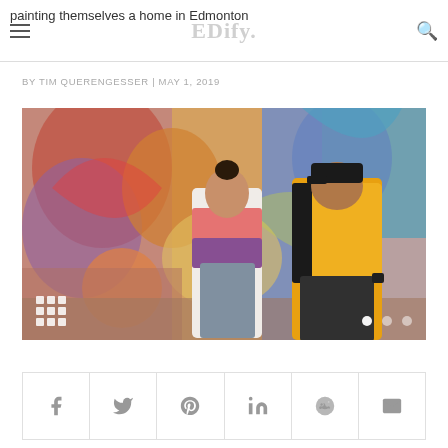painting themselves a home in Edmonton | EDify
BY TIM QUERENGESSER | MAY 1, 2019
[Figure (photo): Two people standing in front of a large colorful mural. Woman wearing a white/red/purple gradient sweatshirt and jeans, man wearing a yellow North Face jacket and black cap.]
Share buttons: Facebook, Twitter, Pinterest, LinkedIn, Reddit, Email